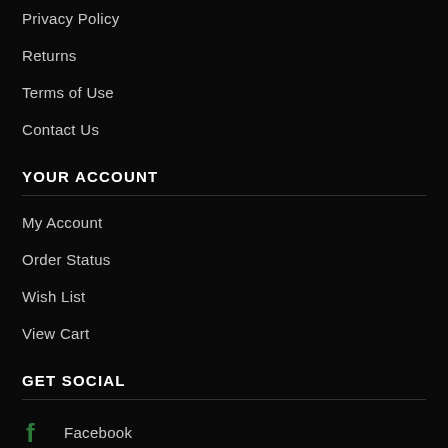Privacy Policy
Returns
Terms of Use
Contact Us
YOUR ACCOUNT
My Account
Order Status
Wish List
View Cart
GET SOCIAL
Facebook